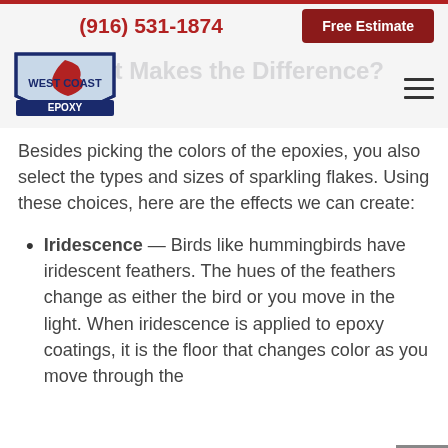(916) 531-1874   Free Estimate
[Figure (logo): West Coast Epoxy logo — shield shape with California state silhouette in red, text WEST COAST EPOXY]
What Makes the Difference?
Besides picking the colors of the epoxies, you also select the types and sizes of sparkling flakes. Using these choices, here are the effects we can create:
Iridescence — Birds like hummingbirds have iridescent feathers. The hues of the feathers change as either the bird or you move in the light. When iridescence is applied to epoxy coatings, it is the floor that changes color as you move through the